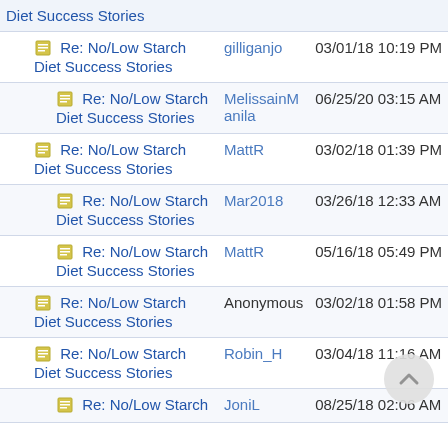Diet Success Stories
Re: No/Low Starch Diet Success Stories | gilliganjo | 03/01/18 10:19 PM
Re: No/Low Starch Diet Success Stories | MelissainManila | 06/25/20 03:15 AM
Re: No/Low Starch Diet Success Stories | MattR | 03/02/18 01:39 PM
Re: No/Low Starch Diet Success Stories | Mar2018 | 03/26/18 12:33 AM
Re: No/Low Starch Diet Success Stories | MattR | 05/16/18 05:49 PM
Re: No/Low Starch Diet Success Stories | Anonymous | 03/02/18 01:58 PM
Re: No/Low Starch Diet Success Stories | Robin_H | 03/04/18 11:16 AM
Re: No/Low Starch | JoniL | 08/25/18 02:06 AM